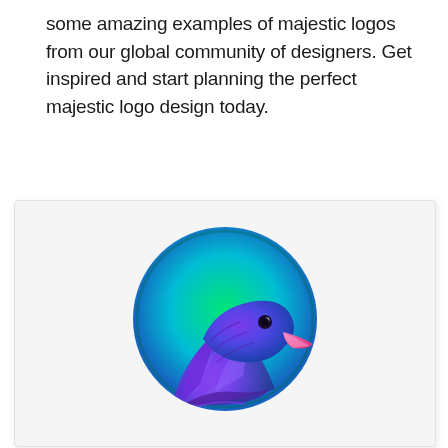some amazing examples of majestic logos from our global community of designers. Get inspired and start planning the perfect majestic logo design today.
[Figure (logo): A colorful bird/eagle logo with gradient colors — green circle background with a purple-to-blue gradient bird head featuring a pink beak, shown inside a light gray card with border.]